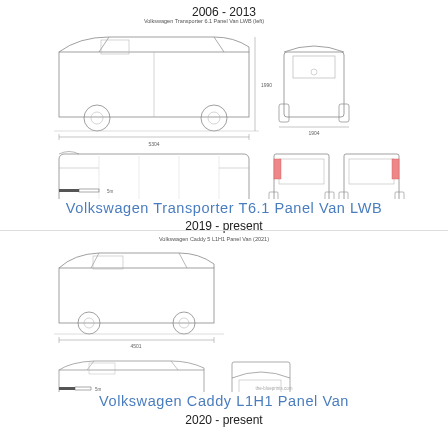2006 - 2013
[Figure (engineering-diagram): Technical blueprint drawings of Volkswagen Transporter T6.1 Panel Van LWB showing side, front, top, rear, and quarter views with dimension lines]
Volkswagen Transporter T6.1 Panel Van LWB
2019 - present
[Figure (engineering-diagram): Technical blueprint drawings of Volkswagen Caddy L1H1 Panel Van showing side, front, top, rear, and quarter views with dimension lines]
Volkswagen Caddy L1H1 Panel Van
2020 - present